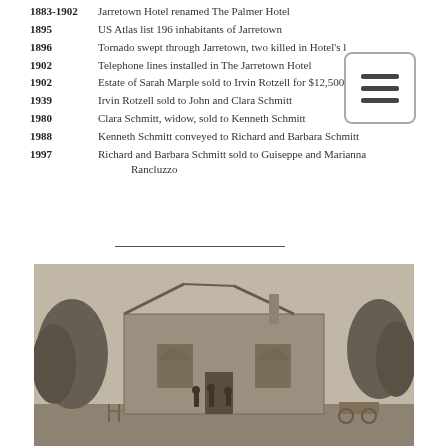1883-1902  Jarretown Hotel renamed The Palmer Hotel
1895  US Atlas list 196 inhabitants of Jarretown
1896  Tornado swept through Jarretown, two killed in Hotel's l[obby]
1902  Telephone lines installed in The Jarretown Hotel
1902  Estate of Sarah Marple sold to Irvin Rotzell for $12,500
1939  Irvin Rotzell sold to John and Clara Schmitt
1980  Clara Schmitt, widow, sold to Kenneth Schmitt
1988  Kenneth Schmitt conveyed to Richard and Barbara Schmitt
1997  Richard and Barbara Schmitt sold to Guiseppe and Marianna Rancluzzo
[Figure (photo): Black and white photograph of a stone building (hotel) after tornado damage, roof partially removed, arched windows visible, several people standing in front, trees flanking the building, wagons in foreground.]